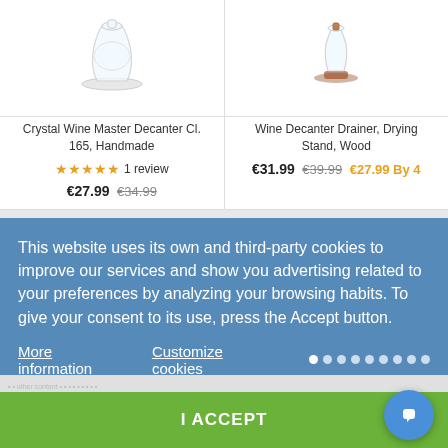[Figure (photo): Product image of Crystal Wine Master Decanter Cl. 165, Handmade - glass decanter on white background]
Crystal Wine Master Decanter Cl. 165, Handmade
★★★★★ 1 review
€27.99 €34.99
[Figure (photo): Product image of Wine Decanter Drainer, Drying Stand, Wood - glass decanter on wooden stand]
Wine Decanter Drainer, Drying Stand, Wood
€31.99 €39.99 €27.99 By 4
This website uses its own and third-party cookies to improve our services and show you advertising related to your preferences by analyzing your browsing habits. To give your consent to its use, press the Accept button.
More information   Customize cookies
REJECT ALL
I ACCEPT